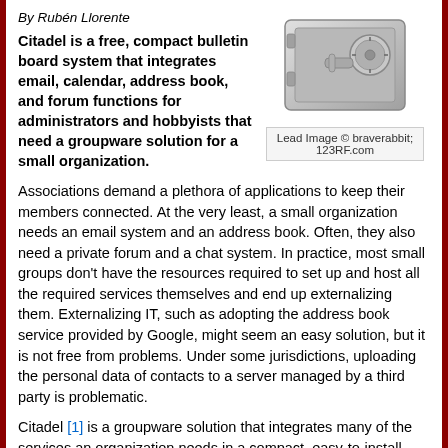By Rubén Llorente
Citadel is a free, compact bulletin board system that integrates email, calendar, address book, and forum functions for administrators and hobbyists that need a groupware solution for a small organization.
[Figure (photo): Photo of a metal safe/vault with a combination lock dial, silver/gray colored.]
Lead Image © braverabbit; 123RF.com
Associations demand a plethora of applications to keep their members connected. At the very least, a small organization needs an email system and an address book. Often, they also need a private forum and a chat system. In practice, most small groups don't have the resources required to set up and host all the required services themselves and end up externalizing them. Externalizing IT, such as adopting the address book service provided by Google, might seem an easy solution, but it is not free from problems. Under some jurisdictions, uploading the personal data of contacts to a server managed by a third party is problematic.
Citadel [1] is a groupware solution that integrates many of the services an organization needs in a compact, easy-to-install package. In a matter of minutes, it offers the power to set up email, contacts, Extensible Messaging and Presence Protocol (XMPP)